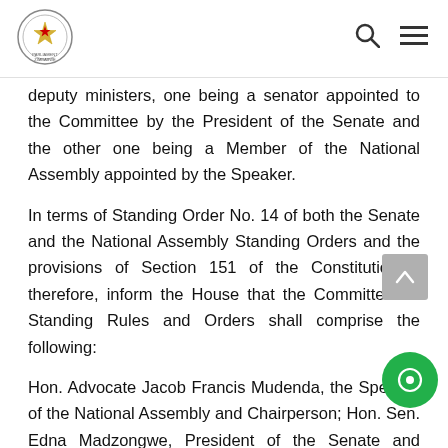Parliament of Zimbabwe header with logo, search icon, and menu icon
deputy ministers, one being a senator appointed to the Committee by the President of the Senate and the other one being a Member of the National Assembly appointed by the Speaker.
In terms of Standing Order No. 14 of both the Senate and the National Assembly Standing Orders and the provisions of Section 151 of the Constitution, I therefore, inform the House that the Committee on Standing Rules and Orders shall comprise the following:
Hon. Advocate Jacob Francis Mudenda, the Speaker of the National Assembly and Chairperson; Hon. Sen. Edna Madzongwe, President of the Senate and Deputy Chairperson; Hon. Mabel Memory Chinomona, Deputy